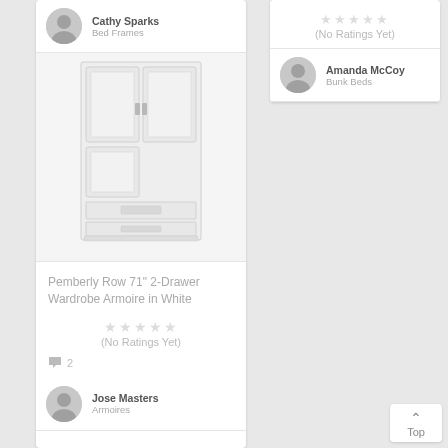Cathy Sparks
Bed Frames
[Figure (photo): White wardrobe armoire with two doors on top and two drawers at the bottom, silver handles]
Pemberly Row 71" 2-Drawer Wardrobe Armoire in White
(No Ratings Yet)
2
Jose Masters
Armoires
(No Ratings Yet)
Amanda McCoy
Bunk Beds
Top